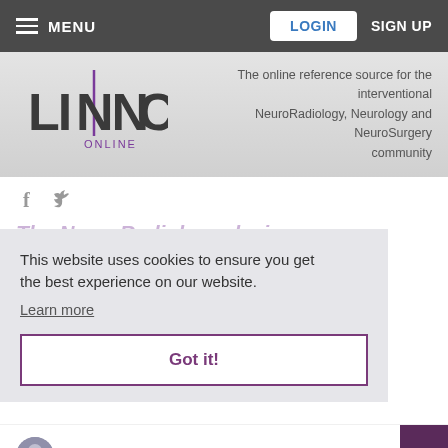MENU  LOGIN  SIGN UP
[Figure (logo): LINNC ONLINE logo with purple vertical line through NN letters]
The online reference source for the interventional NeuroRadiology, Neurology and NeuroSurgery community
[Figure (infographic): Facebook and Twitter social media icons]
The NeuroRadiology...
This website uses cookies to ensure you get the best experience on our website.
Learn more
Got it!